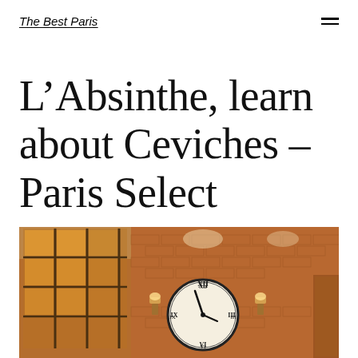The Best Paris
L’Absinthe, learn about Ceviches – Paris Select
[Figure (photo): Interior of a restaurant with brick walls, large industrial windows with metal frames on the left, a large decorative clock with Roman numerals mounted on the brick wall in the center, wall sconces/lamps on either side of the clock, and a warm amber/orange lighting atmosphere.]